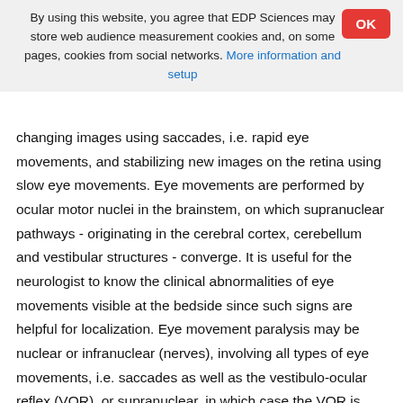By using this website, you agree that EDP Sciences may store web audience measurement cookies and, on some pages, cookies from social networks. More information and setup
changing images using saccades, i.e. rapid eye movements, and stabilizing new images on the retina using slow eye movements. Eye movements are performed by ocular motor nuclei in the brainstem, on which supranuclear pathways - originating in the cerebral cortex, cerebellum and vestibular structures - converge. It is useful for the neurologist to know the clinical abnormalities of eye movements visible at the bedside since such signs are helpful for localization. Eye movement paralysis may be nuclear or infranuclear (nerves), involving all types of eye movements, i.e. saccades as well as the vestibulo-ocular reflex (VOR), or supranuclear, in which case the VOR is usually preserved. Lateral eye movements are organized in the pons, with paralysis of adduction (and preservation of convergence) when the lesion affects the medial longitudinal fasciculus (internuclear ophthalmoplegia),